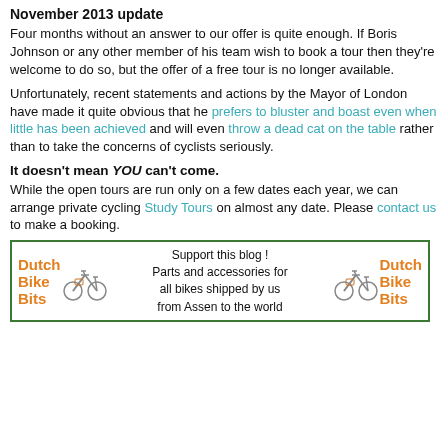November 2013 update
Four months without an answer to our offer is quite enough. If Boris Johnson or any other member of his team wish to book a tour then they're welcome to do so, but the offer of a free tour is no longer available.
Unfortunately, recent statements and actions by the Mayor of London have made it quite obvious that he prefers to bluster and boast even when little has been achieved and will even throw a dead cat on the table rather than to take the concerns of cyclists seriously.
It doesn't mean YOU can't come. While the open tours are run only on a few dates each year, we can arrange private cycling Study Tours on almost any date. Please contact us to make a booking.
[Figure (infographic): Dutch Bike Bits advertisement banner with green border, orange logo text, bicycle illustrations on left and right, and center text: Support this blog! Parts and accessories for all bikes shipped by us from Assen to the world]